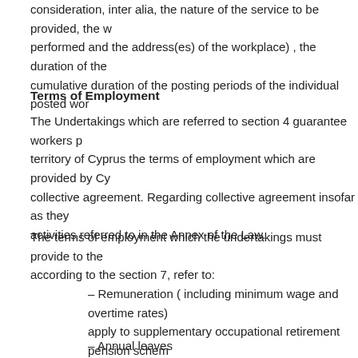consideration, inter alia, the nature of the service to be provided, the w performed and the address(es) of the workplace) , the duration of the cumulative duration of the posting periods of the individual posted wor
Terms of Employment
The Undertakings which are referred to section 4 guarantee workers p territory of Cyprus the terms of employment which are provided by Cy collective agreement. Regarding collective agreement insofar as they activities referred to in the Annex of the Law.
The terms of employment which the undertakings must provide to the according to the section 7, refer to:
– Remuneration ( including minimum wage and overtime rates) apply to supplementary occupational retirement pension schem
– Annual leaves